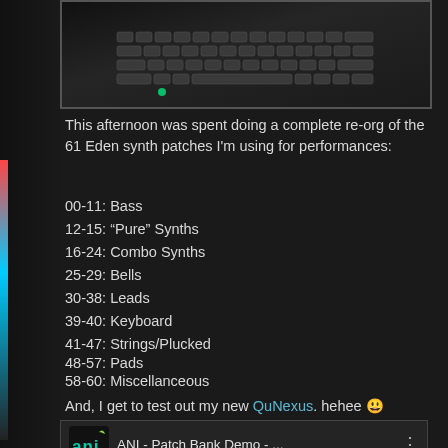[Figure (photo): Dark photo showing a laptop keyboard from above, partially visible, dark background]
This afternoon was spent doing a complete re-org of the 61 Eden synth patches I'm using for performances:
00-11: Bass
12-15: “Pure” Synths
16-24: Combo Synths
25-29: Bells
30-38: Leads
39-40: Keyboard
41-47: Strings/Plucked
48-57: Pads
58-60: Miscellanceous
And, I get to test out my new QuNexus. hehee 😊
[Figure (screenshot): Video thumbnail for ANI - Patch Bank Demo - ... with ANI logo and three-dot menu]